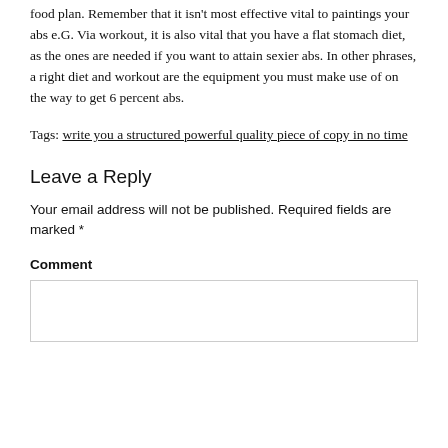food plan. Remember that it isn't most effective vital to paintings your abs e.G. Via workout, it is also vital that you have a flat stomach diet, as the ones are needed if you want to attain sexier abs. In other phrases, a right diet and workout are the equipment you must make use of on the way to get 6 percent abs.
Tags: write you a structured powerful quality piece of copy in no time
Leave a Reply
Your email address will not be published. Required fields are marked *
Comment